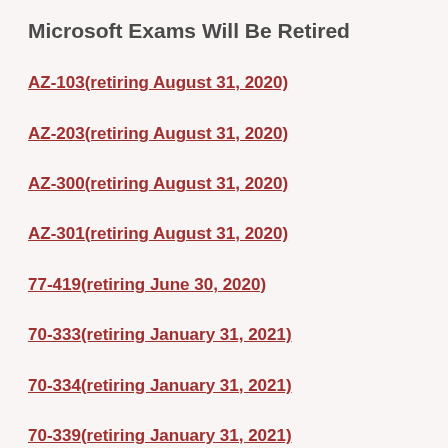Microsoft Exams Will Be Retired
AZ-103(retiring August 31, 2020)
AZ-203(retiring August 31, 2020)
AZ-300(retiring August 31, 2020)
AZ-301(retiring August 31, 2020)
77-419(retiring June 30, 2020)
70-333(retiring January 31, 2021)
70-334(retiring January 31, 2021)
70-339(retiring January 31, 2021)
70-345(retiring January 31, 2021)